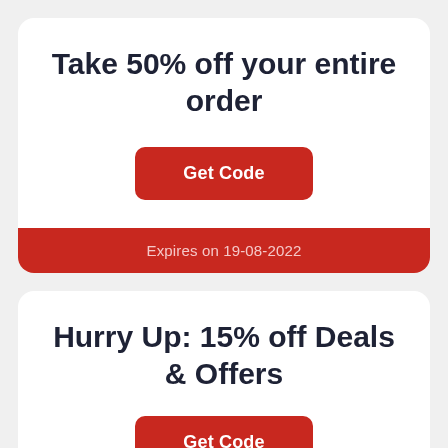Take 50% off your entire order
Get Code
Expires on 19-08-2022
Hurry Up: 15% off Deals & Offers